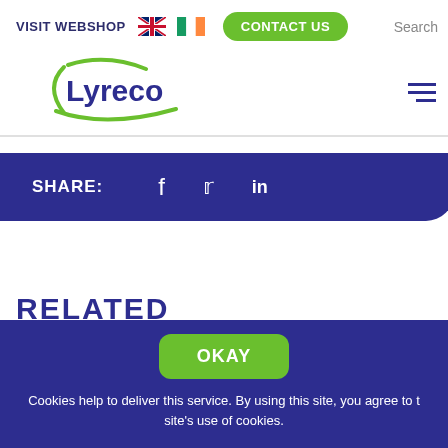VISIT WEBSHOP  [UK flag] [IE flag]  CONTACT US  Search
[Figure (logo): Lyreco company logo with green swoosh and dark blue text]
[Figure (infographic): Share bar with Facebook, Twitter, and LinkedIn icons on dark blue background]
RELATED
Cookies help to deliver this service. By using this site, you agree to the site's use of cookies.